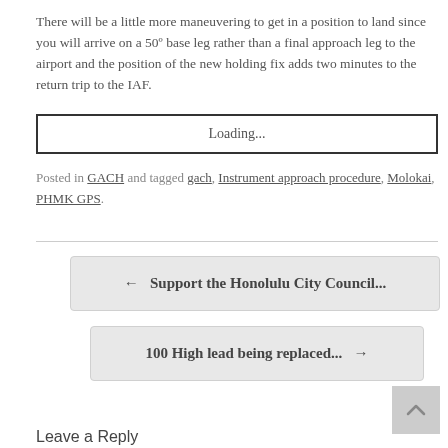There will be a little more maneuvering to get in a position to land since you will arrive on a 50º base leg rather than a final approach leg to the airport and the position of the new holding fix adds two minutes to the return trip to the IAF.
Loading...
Posted in GACH and tagged gach, Instrument approach procedure, Molokai, PHMK GPS.
← Support the Honolulu City Council...
100 High lead being replaced... →
Leave a Reply